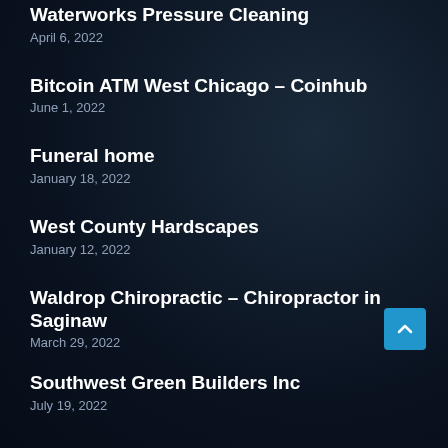Waterworks Pressure Cleaning
April 6, 2022
Bitcoin ATM West Chicago – Coinhub
June 1, 2022
Funeral home
January 18, 2022
West County Hardscapes
January 12, 2022
Waldrop Chiropractic – Chiropractor in Saginaw
March 29, 2022
Southwest Green Builders Inc
July 19, 2022